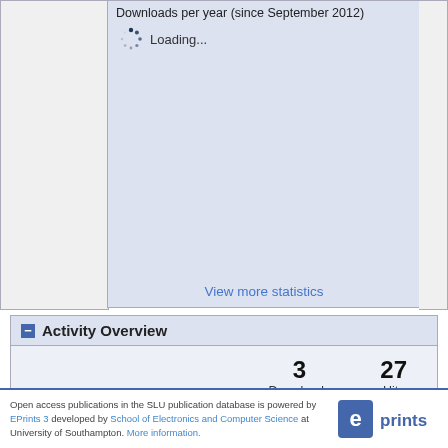[Figure (other): Downloads per year chart area (since September 2012) with loading spinner and 'Loading...' text, and a 'View more statistics' link at the bottom. Chart content is loading.]
Activity Overview
3 Downloads   27 Hits
Open access publications in the SLU publication database is powered by EPrints 3 developed by School of Electronics and Computer Science at University of Southampton. More information.